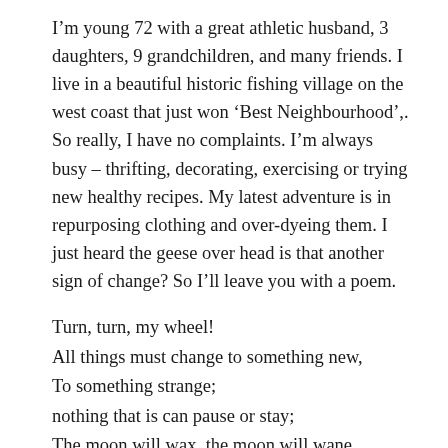I'm young 72 with a great athletic husband, 3 daughters, 9 grandchildren, and many friends. I live in a beautiful historic fishing village on the west coast that just won 'Best Neighbourhood',. So really, I have no complaints. I'm always busy – thrifting, decorating, exercising or trying new healthy recipes. My latest adventure is in repurposing clothing and over-dyeing them. I just heard the geese over head is that another sign of change? So I'll leave you with a poem.
Turn, turn, my wheel!
All things must change to something new,
To something strange;
nothing that is can pause or stay;
The moon will wax, the moon will wane,